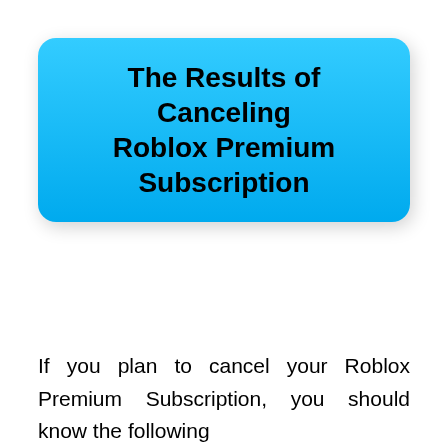The Results of Canceling Roblox Premium Subscription
If you plan to cancel your Roblox Premium Subscription, you should know the following